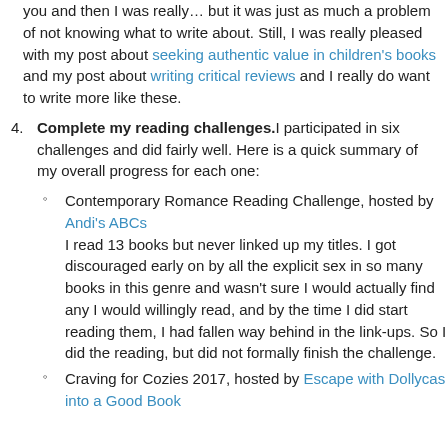you and then I was really… but it was just as much a problem of not knowing what to write about. Still, I was really pleased with my post about seeking authentic value in children's books and my post about writing critical reviews and I really do want to write more like these.
4. Complete my reading challenges. I participated in six challenges and did fairly well. Here is a quick summary of my overall progress for each one:
Contemporary Romance Reading Challenge, hosted by Andi's ABCs
I read 13 books but never linked up my titles. I got discouraged early on by all the explicit sex in so many books in this genre and wasn't sure I would actually find any I would willingly read, and by the time I did start reading them, I had fallen way behind in the link-ups. So I did the reading, but did not formally finish the challenge.
Craving for Cozies 2017, hosted by Escape with Dollycas into a Good Book